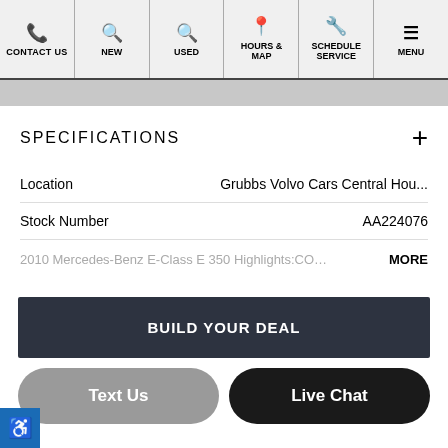CONTACT US | NEW | USED | HOURS & MAP | SCHEDULE SERVICE | MENU
SPECIFICATIONS
| Field | Value |
| --- | --- |
| Location | Grubbs Volvo Cars Central Hou... |
| Stock Number | AA224076 |
|  | 2010 Mercedes-Benz E-Class E 350 Highlights:COMAND® w/Navigation ... MORE |
BUILD YOUR DEAL
Text Us
Live Chat